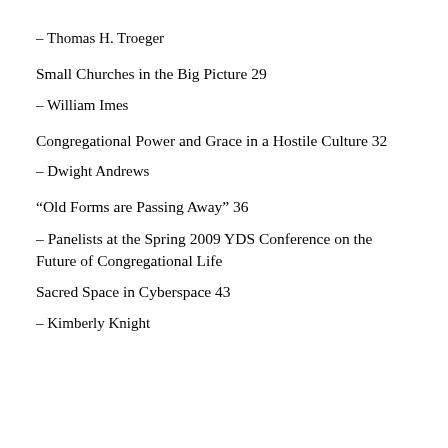– Thomas H. Troeger
Small Churches in the Big Picture 29
– William Imes
Congregational Power and Grace in a Hostile Culture 32
– Dwight Andrews
“Old Forms are Passing Away” 36
– Panelists at the Spring 2009 YDS Conference on the Future of Congregational Life
Sacred Space in Cyberspace 43
– Kimberly Knight